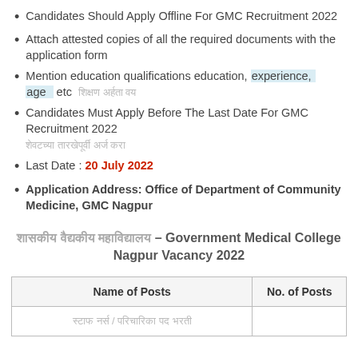Candidates Should Apply Offline For GMC Recruitment 2022
Attach attested copies of all the required documents with the application form
Mention education qualifications education, experience, age etc [Hindi text blurred]
Candidates Must Apply Before The Last Date For GMC Recruitment 2022
Last Date : 20 July 2022
Application Address: Office of Department of Community Medicine, GMC Nagpur
[Hindi] – Government Medical College Nagpur Vacancy 2022
| Name of Posts | No. of Posts |
| --- | --- |
| [Hindi blurred] |  |